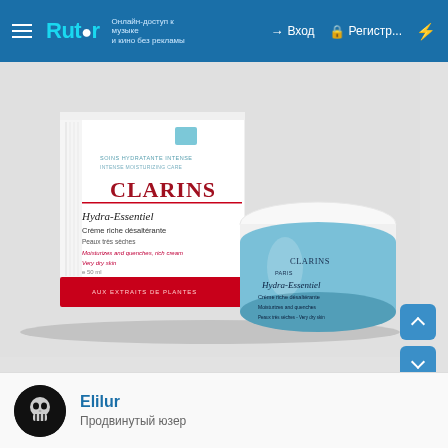≡ Rutor | → Вход | Регистр... | ⚡
[Figure (photo): Clarins Hydra-Essentiel rich cream product photo showing the white box packaging and the teal blue jar container. Box reads: CLARINS Hydra-Essentiel, Crème riche désaltérante, Peaux très sèches, Moisturizes and quenches rich cream, Very dry skin, e 50 ml. Jar reads: CLARINS, Hydra-Essentiel, Crème riche désaltérante, Moisturizes and quenches, Peaux très sèches - Very dry skin.]
Elilur
Продвинутый юзер